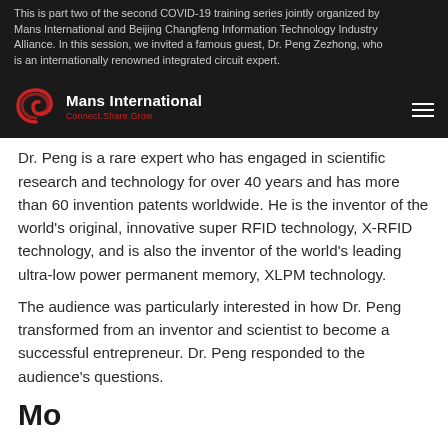This is part two of the second COVID-19 training series jointly organized by Mans International and Beijing Changfeng Information Technology Industry Alliance. In this session, we invited a famous guest, Dr. Peng Zezhong, who is an internationally renowned integrated circuit expert.
[Figure (logo): Mans International logo with red crescent/spiral icon and white bold text 'Mans International' with red tagline 'Connect.Share.Grow' on dark background]
Dr. Peng is a rare expert who has engaged in scientific research and technology for over 40 years and has more than 60 invention patents worldwide. He is the inventor of the world's original, innovative super RFID technology, X-RFID technology, and is also the inventor of the world's leading ultra-low power permanent memory, XLPM technology.
The audience was particularly interested in how Dr. Peng transformed from an inventor and scientist to become a successful entrepreneur. Dr. Peng responded to the audience's questions.
Mo...